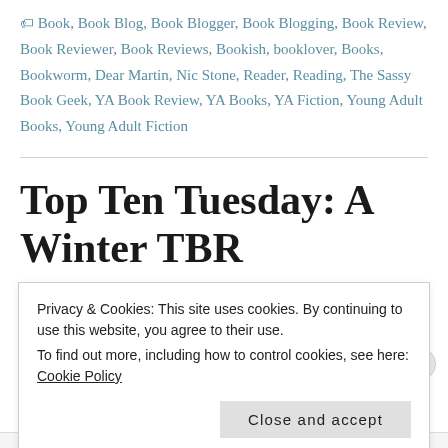Book, Book Blog, Book Blogger, Book Blogging, Book Review, Book Reviewer, Book Reviews, Bookish, booklover, Books, Bookworm, Dear Martin, Nic Stone, Reader, Reading, The Sassy Book Geek, YA Book Review, YA Books, YA Fiction, Young Adult Books, Young Adult Fiction
Top Ten Tuesday: A Winter TBR
November 28, 2017   Heather @ The Sassy Book Geek
Privacy & Cookies: This site uses cookies. By continuing to use this website, you agree to their use. To find out more, including how to control cookies, see here: Cookie Policy
Close and accept